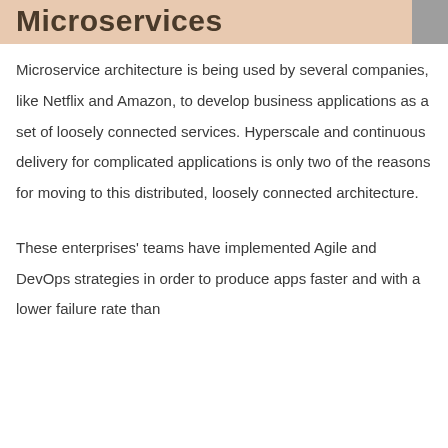Microservices
Microservice architecture is being used by several companies, like Netflix and Amazon, to develop business applications as a set of loosely connected services. Hyperscale and continuous delivery for complicated applications is only two of the reasons for moving to this distributed, loosely connected architecture.
These enterprises' teams have implemented Agile and DevOps strategies in order to produce apps faster and with a lower failure rate than